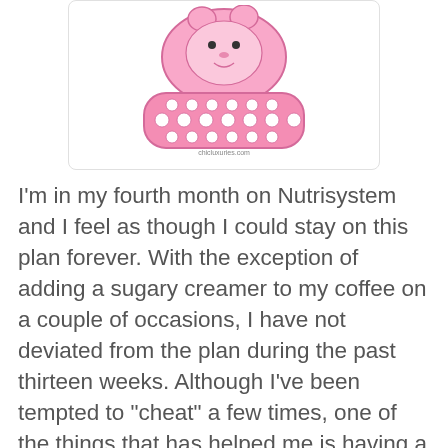[Figure (illustration): Pink cartoon illustration of a scale or food item, resembling a pink bath scale or crocs/shoes with polka dots, featuring a small animal or character on top. Watermark reads chicluxuries.com]
I'm in my fourth month on Nutrisystem and I feel as though I could stay on this plan forever. With the exception of adding a sugary creamer to my coffee on a couple of occasions, I have not deviated from the plan during the past thirteen weeks. Although I've been tempted to "cheat" a few times, one of the things that has helped me is having a huge support system. I think having a mentor or someone to encourage or inspire you when you're trying to lose weight is not only an asset, but a necessity. In addition to my Nutrisystem Counselor, Jaclyn, who I can reach out to anytime I have a question or need advice, I have many friends and family who have